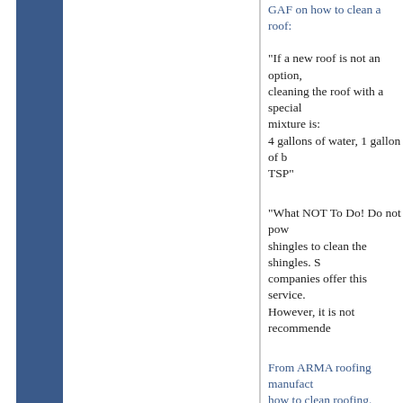GAF on how to clean a roof:
"If a new roof is not an option, cleaning the roof with a special mixture is:
4 gallons of water, 1 gallon of b... TSP"
"What NOT To Do! Do not pow... shingles to clean the shingles. S... companies offer this service. However, it is not recommende...
From ARMA roofing manufact... how to clean roofing.
http://www.asphaltroofing.or...
Below is a partial excerpt cut a... from ARMA:
Algae discolorations to remove surfaces, applying a solution of...